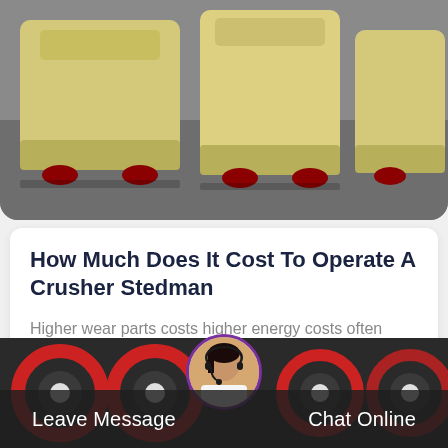[Figure (photo): Industrial crusher machines in yellow/cream color sitting on a factory floor, partial view from above]
How Much Does It Cost To Operate A Crusher Stedman
Higher wear parts costs higher energy costs often there is a justifiable case to spend additional capital dollars for the better machine when…
More Details
[Figure (photo): Industrial machinery with red circular components in a factory setting, dark background, with chat avatar overlay and bottom navigation bar showing Leave Message and Chat Online options]